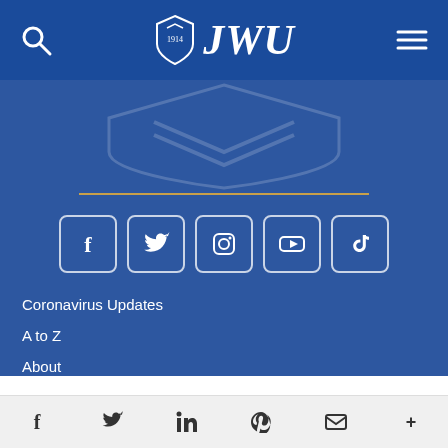JWU navigation header with search and menu icons
[Figure (logo): JWU university logo with shield and text on blue navigation bar]
[Figure (illustration): Blue background section with faint JWU shield watermark and gold horizontal line]
[Figure (infographic): Social media icons row: Facebook, Twitter, Instagram, YouTube, TikTok]
Coronavirus Updates
A to Z
About
Academics
Bottom share bar with Facebook, Twitter, LinkedIn, Pinterest, Email, More icons